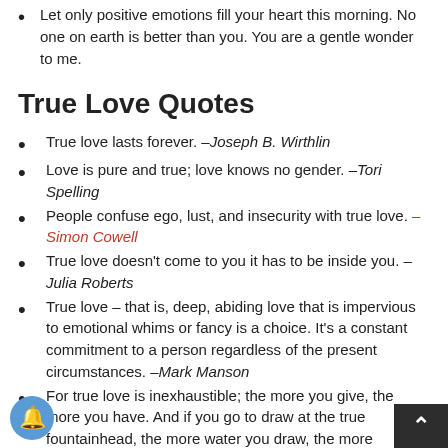Let only positive emotions fill your heart this morning. No one on earth is better than you. You are a gentle wonder to me.
True Love Quotes
True love lasts forever. –Joseph B. Wirthlin
Love is pure and true; love knows no gender. –Tori Spelling
People confuse ego, lust, and insecurity with true love. –Simon Cowell
True love doesn't come to you it has to be inside you. –Julia Roberts
True love – that is, deep, abiding love that is impervious to emotional whims or fancy is a choice. It's a constant commitment to a person regardless of the present circumstances. –Mark Manson
For true love is inexhaustible; the more you give, the more you have. And if you go to draw at the true fountainhead, the more water you draw, the more